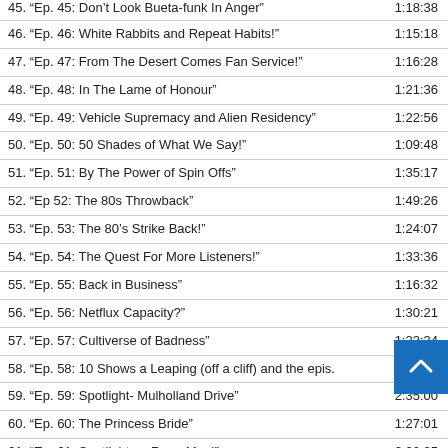| Episode | Duration |
| --- | --- |
| 45. “Ep. 45: Don’t Look Bueta-funk In Anger” (partial) | 1:18:38 |
| 46. “Ep. 46: White Rabbits and Repeat Habits!” | 1:15:18 |
| 47. “Ep. 47: From The Desert Comes Fan Service!” | 1:16:28 |
| 48. “Ep. 48: In The Lame of Honour” | 1:21:36 |
| 49. “Ep. 49: Vehicle Supremacy and Alien Residency” | 1:22:56 |
| 50. “Ep. 50: 50 Shades of What We Say!” | 1:09:48 |
| 51. “Ep. 51: By The Power of Spin Offs” | 1:35:17 |
| 52. “Ep 52: The 80s Throwback” | 1:49:26 |
| 53. “Ep. 53: The 80’s Strike Back!” | 1:24:07 |
| 54. “Ep. 54: The Quest For More Listeners!” | 1:33:36 |
| 55. “Ep. 55: Back in Business” | 1:16:32 |
| 56. “Ep. 56: Netflux Capacity?” | 1:30:21 |
| 57. “Ep. 57: Cultiverse of Badness” | 1:23:34 |
| 58. “Ep. 58: 10 Shows a Leaping (off a cliff) and the epis. | 1:59:01 |
| 59. “Ep. 59: Spotlight- Mulholland Drive” | 2:35:00 |
| 60. “Ep. 60: The Princess Bride” | 1:27:01 |
| 61. “Ep. 61: Spotlight on Repo Man!” | 2:00:25 |
| 62. “Ep. 62: They Live” | 1:??:?? |
| 63. “Ep. 63: The Breakfast Club” | 2:??:?? |
| 64. “Ep. 64: Ferris Bueller’s Day Off” | 1:59:17 |
| 65. “Ep. 65: Dazed and Confused” | 1:02:44 |